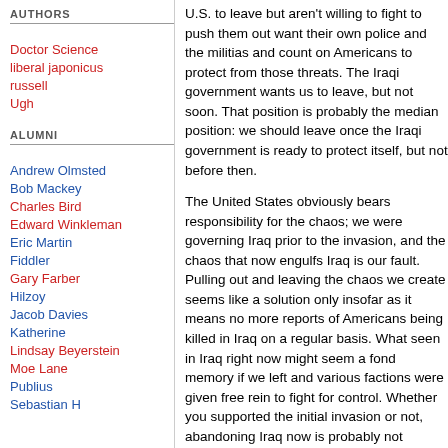AUTHORS
Doctor Science
liberal japonicus
russell
Ugh
ALUMNI
Andrew Olmsted
Bob Mackey
Charles Bird
Edward Winkleman
Eric Martin
Fiddler
Gary Farber
Hilzoy
Jacob Davies
Katherine
Lindsay Beyerstein
Moe Lane
Publius
Sebastian H
U.S. to leave but aren't willing to fight to push them out want their own police and the militias and count on Americans to protect from those threats. The Iraqi government wants us to leave, but not soon. That position is probably the median position: we should leave once the Iraqi government is ready to protect itself, but not before then.
The United States obviously bears responsibility for the chaos; we were governing Iraq prior to the invasion, and the chaos that now engulfs Iraq is our fault. Pulling out and leaving the chaos we create seems like a solution only insofar as it means no more reports of Americans being killed in Iraq on a regular basis. What seen in Iraq right now might seem a fond memory if we left and various factions were given free rein to fight for control. Whether you supported the initial invasion or not, abandoning Iraq now is probably not something you want to see happen either.
There are good and bad reasons to oppose pulling out. The impression of the United States being driven from Iraq is bad, but opposing a pullout simply because it will mean that lives will have been lost in vain fails to consider the fact that continuing means We cannot bring any of our casualties back to life. The longer we stay in Iraq, the more deaths we will endure. Staying simply to make deaths mean something is a recipe for never leaving. We